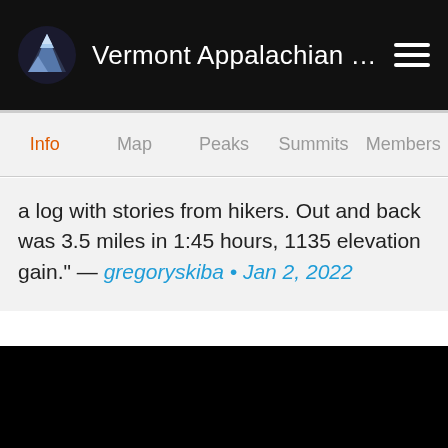Vermont Appalachian Trail P…
Info  Map  Peaks  Summits  Members
a log with stories from hikers. Out and back was 3.5 miles in 1:45 hours, 1135 elevation gain." — gregoryskiba • Jan 2, 2022